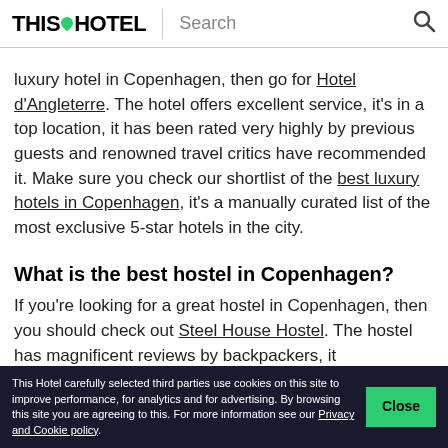THIS HOTEL | Search
luxury hotel in Copenhagen, then go for Hotel d'Angleterre. The hotel offers excellent service, it's in a top location, it has been rated very highly by previous guests and renowned travel critics have recommended it. Make sure you check our shortlist of the best luxury hotels in Copenhagen, it's a manually curated list of the most exclusive 5-star hotels in the city.
What is the best hostel in Copenhagen?
If you're looking for a great hostel in Copenhagen, then you should check out Steel House Hostel. The hostel has magnificent reviews by backpackers, it
This Hotel carefully selected third parties use cookies on this site to improve performance, for analytics and for advertising. By browsing this site you are agreeing to this. For more information see our Privacy and Cookie policy.